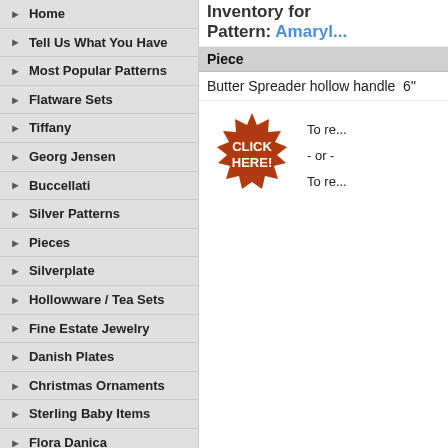Home
Tell Us What You Have
Most Popular Patterns
Flatware Sets
Tiffany
Georg Jensen
Buccellati
Silver Patterns
Pieces
Silverplate
Hollowware / Tea Sets
Fine Estate Jewelry
Danish Plates
Christmas Ornaments
Sterling Baby Items
Flora Danica
Royal Copenhagen China
Polish & Silver Storage
Books
Inventory for Pattern: Amaryl...
| Piece |
| --- |
| Butter Spreader hollow handle  6" |
[Figure (other): Red starburst badge with white bold text 'CLICK HERE!' with small text 'To re... - or - To re...' to the right]